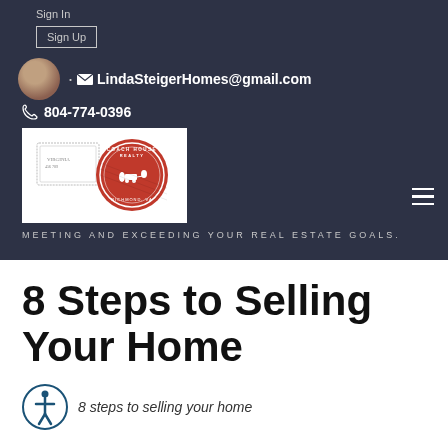Sign In
Sign Up
LindaSteigerHomes@gmail.com
804-774-0396
[Figure (logo): Coach House Realty Richmond VA logo — red circular stamp with horse and carriage, Virginia stamp overlay]
MEETING AND EXCEEDING YOUR REAL ESTATE GOALS.
8 Steps to Selling Your Home
8 steps to selling your home